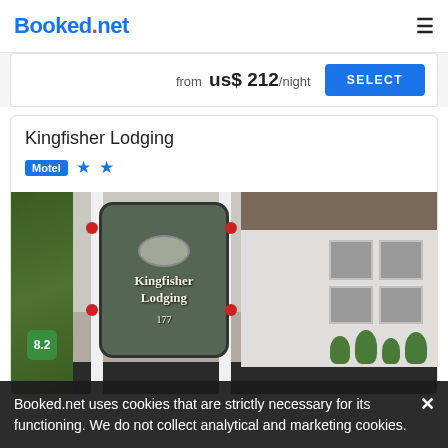Booked.net
from us$ 212/night
SELECT
Kingfisher Lodging
Motel ★★
[Figure (photo): Exterior photo of Kingfisher Lodging motel sign with white posts and dark wooden sign board reading 'Kingfisher Lodging 177', with building and landscaping visible in background]
Booked.net uses cookies that are strictly necessary for its functioning. We do not collect analytical and marketing cookies.